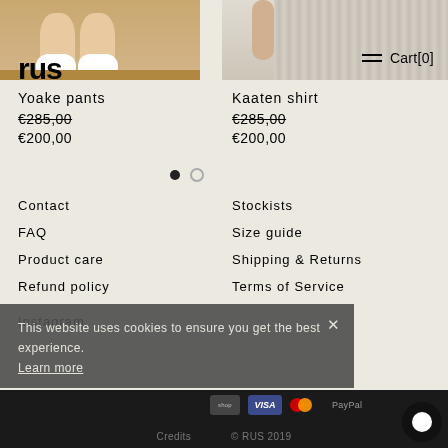[Figure (photo): Product photo: Yoake pants showing feet and shoes on wooden floor]
[Figure (photo): Product photo: Kaaten shirt showing draped fabric]
rus
Cart[0]
Yoake pants
€285,00
€200,00
Kaaten shirt
€285,00
€200,00
Contact
FAQ
Product care
Refund policy
Stockists
Size guide
Shipping & Returns
Terms of Service
Instagram
This website uses cookies to ensure you get the best experience.
Learn more
Credits  © RUS 2019